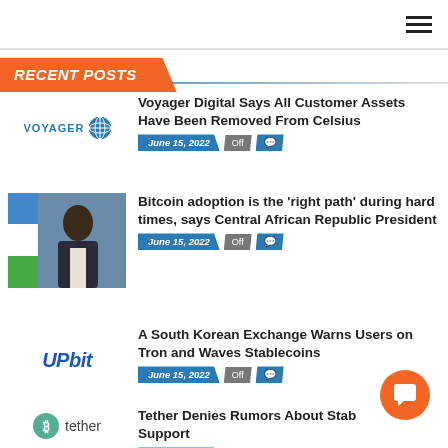Navigation bar with hamburger menu
RECENT POSTS
Voyager Digital Says All Customer Assets Have Been Removed From Celsius — June 15, 2022
Bitcoin adoption is the 'right path' during hard times, says Central African Republic President — June 15, 2022
A South Korean Exchange Warns Users on Tron and Waves Stablecoins — June 15, 2022
Tether Denies Rumors About Stab[ilecoin] Support — June 15, 2022